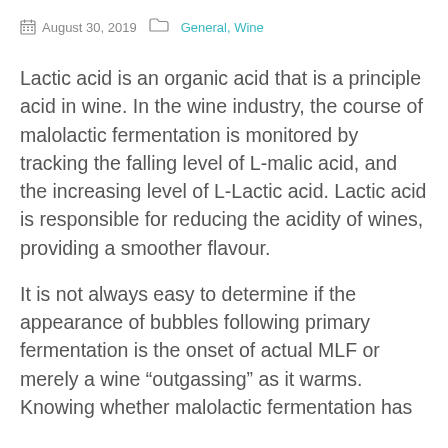August 30, 2019   General, Wine
Lactic acid is an organic acid that is a principle acid in wine. In the wine industry, the course of malolactic fermentation is monitored by tracking the falling level of L-malic acid, and the increasing level of L-Lactic acid. Lactic acid is responsible for reducing the acidity of wines, providing a smoother flavour.
It is not always easy to determine if the appearance of bubbles following primary fermentation is the onset of actual MLF or merely a wine “outgassing” as it warms. Knowing whether malolactic fermentation has